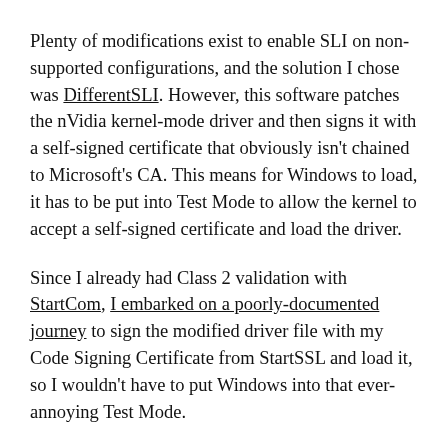Plenty of modifications exist to enable SLI on non-supported configurations, and the solution I chose was DifferentSLI. However, this software patches the nVidia kernel-mode driver and then signs it with a self-signed certificate that obviously isn't chained to Microsoft's CA. This means for Windows to load, it has to be put into Test Mode to allow the kernel to accept a self-signed certificate and load the driver.
Since I already had Class 2 validation with StartCom, I embarked on a poorly-documented journey to sign the modified driver file with my Code Signing Certificate from StartSSL and load it, so I wouldn't have to put Windows into that ever-annoying Test Mode.